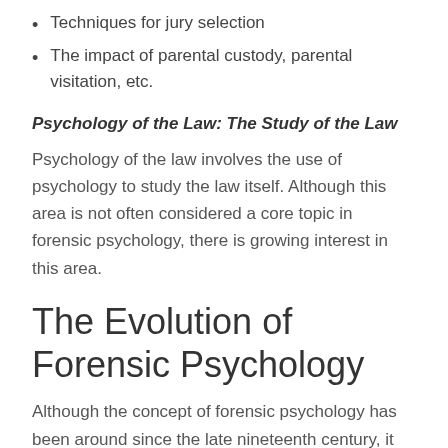Techniques for jury selection
The impact of parental custody, parental visitation, etc.
Psychology of the Law: The Study of the Law
Psychology of the law involves the use of psychology to study the law itself. Although this area is not often considered a core topic in forensic psychology, there is growing interest in this area.
The Evolution of Forensic Psychology
Although the concept of forensic psychology has been around since the late nineteenth century, it didn't earn an APA-recognized title until 2001. Also, the question 'how forensic psychology evolved' is answered below.